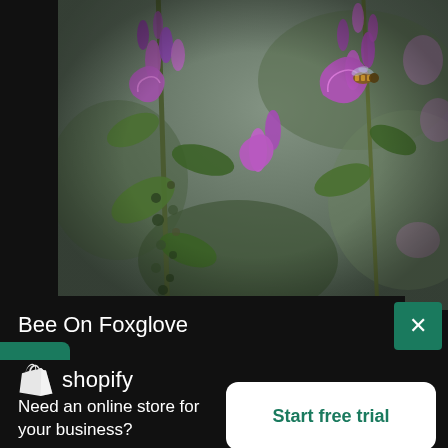[Figure (photo): Close-up photograph of purple/pink foxglove flowers on green stems with blurred background. A bee is visible on one of the flowers.]
Bee On Foxglove
[Figure (logo): Shopify logo with shopping bag icon and wordmark 'shopify' in white on teal background]
Need an online store for your business?
Start free trial